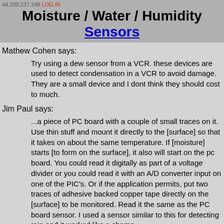44.200.237.249 LOG IN
Moisture / Water / Humidity Sensors
Mathew Cohen says:
Try using a dew sensor from a VCR. these devices are used to detect condensation in a VCR to avoid damage. They are a small device and I dont think they should cost to much.
Jim Paul says:
...a piece of PC board with a couple of small traces on it. Use thin stuff and mount it directly to the [surface] so that it takes on about the same temperature. If [moisture] starts [to form on the surface], it also will start on the pc board. You could read it digitally as part of a voltage divider or you could read it with an A/D converter input on one of the PIC's. Or if the application permits, put two traces of adhesive backed copper tape directly on the [surface] to be monitored. Read it the same as the PC board sensor. I used a sensor similar to this for detecting rain and it worked like a champ.
Darran Logan says:
Once upon a time... I worked with a particular water detector sensor, which was basically a small ceramic tile